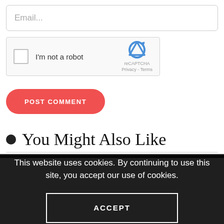Email...
[Figure (screenshot): reCAPTCHA widget with checkbox labeled 'I'm not a robot' and reCAPTCHA logo with Privacy - Terms links]
POST COMMENT
• You Might Also Like
This website uses cookies. By continuing to use this site, you accept our use of cookies.
ACCEPT